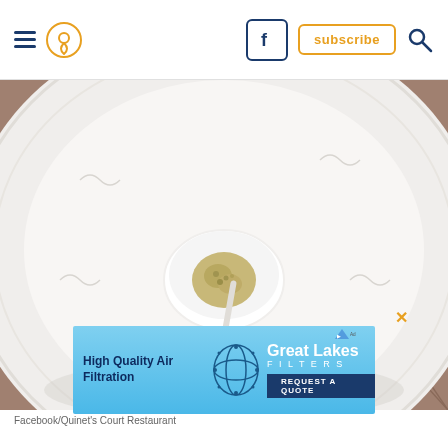Navigation bar with hamburger menu, location icon, Facebook icon, subscribe button, search icon
[Figure (photo): Overhead view of a white decorative plate on a tiled surface, with a small food item in a white bowl in the center of the plate]
Facebook/Quinet's Court Restaurant
[Figure (infographic): Advertisement for Great Lakes Filters: 'High Quality Air Filtration' with 'REQUEST A QUOTE' button and Great Lakes Filters logo/orb graphic]